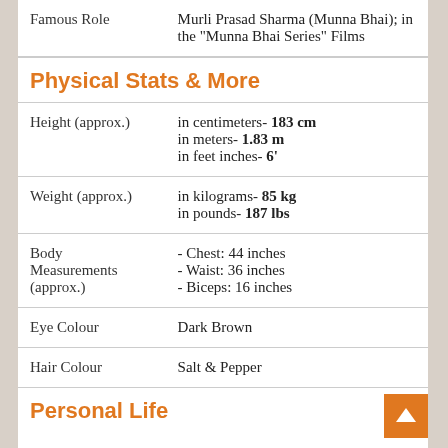| Attribute | Value |
| --- | --- |
| Famous Role | Murli Prasad Sharma (Munna Bhai); in the "Munna Bhai Series" Films |
Physical Stats & More
| Attribute | Value |
| --- | --- |
| Height (approx.) | in centimeters- 183 cm
in meters- 1.83 m
in feet inches- 6' |
| Weight (approx.) | in kilograms- 85 kg
in pounds- 187 lbs |
| Body Measurements (approx.) | - Chest: 44 inches
- Waist: 36 inches
- Biceps: 16 inches |
| Eye Colour | Dark Brown |
| Hair Colour | Salt & Pepper |
Personal Life